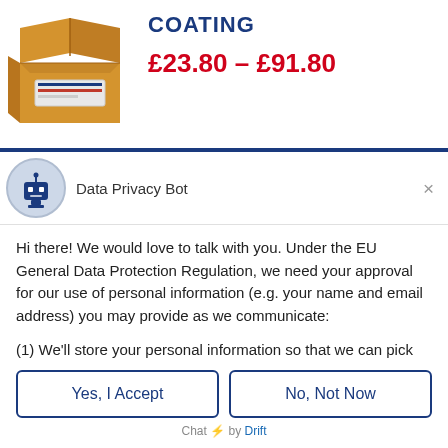COATING
£23.80 – £91.80
Data Privacy Bot
Hi there! We would love to talk with you. Under the EU General Data Protection Regulation, we need your approval for our use of personal information (e.g. your name and email address) you may provide as we communicate:
(1) We'll store your personal information so that we can pick up the conversation if we talk later.
(2) We may send you emails to follow up on our discussion here.
(3) We may send you emails about our upcoming services and promotions.
Yes, I Accept
No, Not Now
Chat ⚡ by Drift